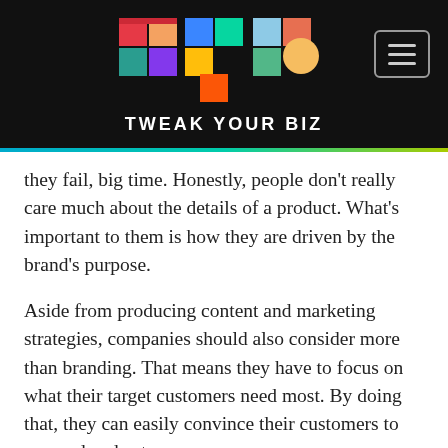[Figure (logo): TYB (Tweak Your Biz) colorful logo on black header bar with hamburger menu icon]
they fail, big time. Honestly, people don't really care much about the details of a product. What's important to them is how they are driven by the brand's purpose.
Aside from producing content and marketing strategies, companies should also consider more than branding. That means they have to focus on what their target customers need most. By doing that, they can easily convince their customers to respond and act.
#3. Online Advertising
In 2017, online advertising is expected to improve further. If you are wondering why, it is because of social